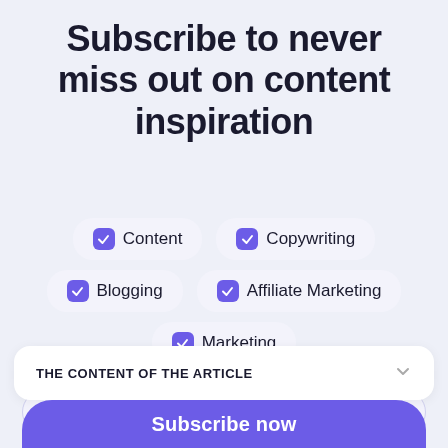Subscribe to never miss out on content inspiration
Content
Copywriting
Blogging
Affiliate Marketing
Marketing
Your email address
THE CONTENT OF THE ARTICLE
Subscribe now